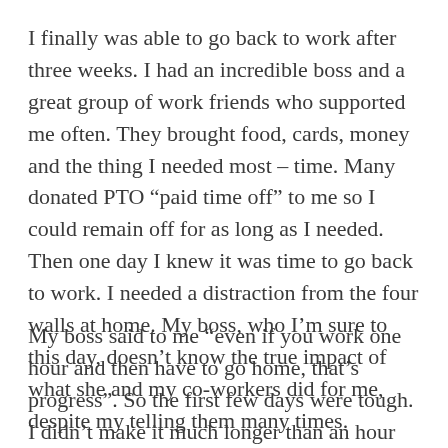I finally was able to go back to work after three weeks. I had an incredible boss and a great group of work friends who supported me often. They brought food, cards, money and the thing I needed most – time. Many donated PTO “paid time off” to me so I could remain off for as long as I needed. Then one day I knew it was time to go back to work. I needed a distraction from the four walls at home. My boss, who I’m sure to this day, doesn’t know the true impact of what she and my co-workers did for me, despite my telling them many times.
My boss said to me “even if you work one hour and then have to go home, that’s progress”. So the first few days were tough. I didn’t make it much longer than an hour the first day. Then as the days and